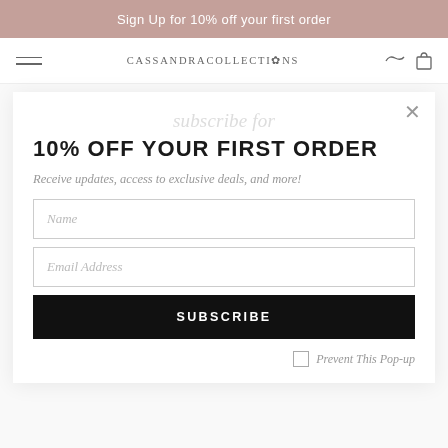Sign Up for 10% off your first order
[Figure (screenshot): Website navigation bar with hamburger menu, CassandraCollections logo, and cart/wishlist icons]
10% OFF YOUR FIRST ORDER
subscribe for
Receive updates, access to exclusive deals, and more!
Name
Email Address
SUBSCRIBE
Prevent This Pop-up